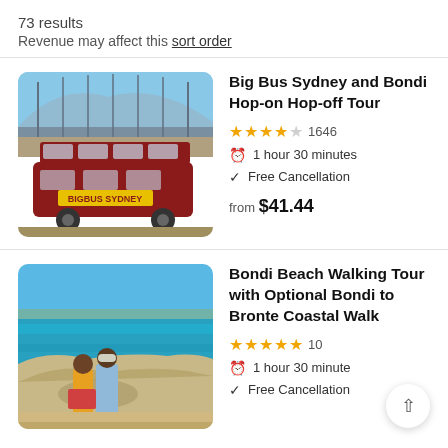73 results
Revenue may affect this sort order
Big Bus Sydney and Bondi Hop-on Hop-off Tour
[Figure (photo): Photo of a Big Bus Sydney double-decker red bus under the Sydney Harbour Bridge]
★★★★☆ 1646
1 hour 30 minutes
Free Cancellation
from $41.44
Bondi Beach Walking Tour with Optional Bondi to Bronte Coastal Walk
[Figure (photo): Photo of a couple at Bondi Beach coastal cliffs with turquoise ocean in the background]
★★★★★ 10
1 hour 30 minutes
Free Cancellation